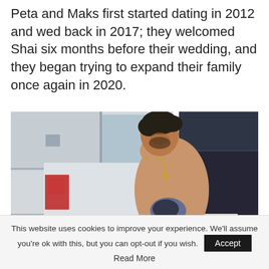Peta and Maks first started dating in 2012 and wed back in 2017; they welcomed Shai six months before their wedding, and they began trying to expand their family once again in 2020.
[Figure (photo): A shirtless man with dark curly hair and chest tattoos, looking down, standing between vehicles including a white van and a dark truck in an outdoor setting.]
This website uses cookies to improve your experience. We'll assume you're ok with this, but you can opt-out if you wish. Accept Read More